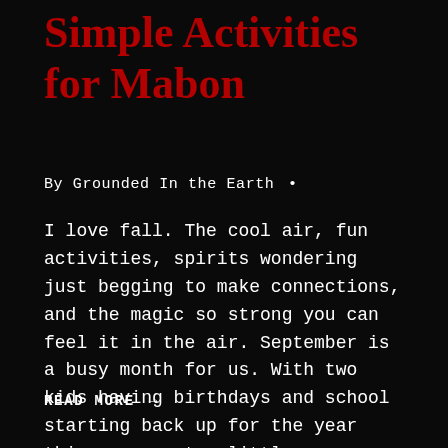Simple Activities for Mabon
By Grounded In the Earth •
I love fall. The cool air, fun activities, spirits wondering just begging to make connections, and the magic so strong you can feel it in the air. September is a busy month for us. With two kids having birthdays and school starting back up for the year things can get a little crazy. Toss in...
READ MORE →